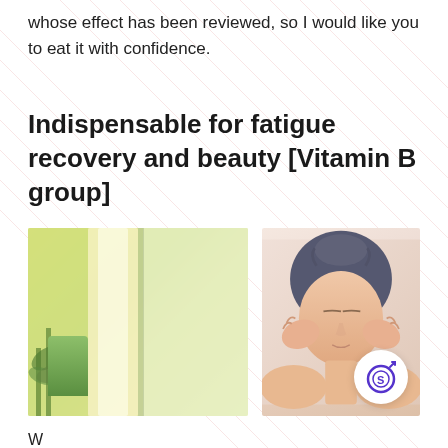whose effect has been reviewed, so I would like you to eat it with confidence.
Indispensable for fatigue recovery and beauty [Vitamin B group]
[Figure (photo): Two side-by-side photos: left shows a blurred green and yellow indoor plant scene; right shows a woman with eyes closed, hands on cheeks, in a beauty/wellness pose with a watermark logo circle in the bottom right corner.]